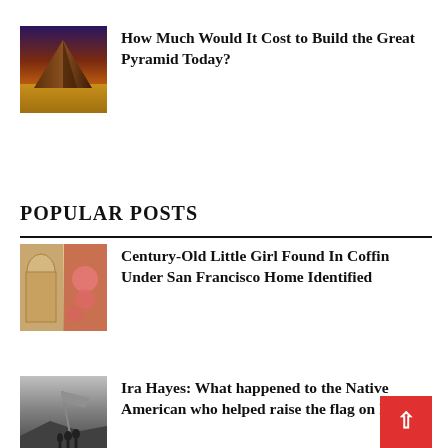[Figure (photo): Photograph of the Great Pyramid of Giza at sunset with dramatic purple and orange sky]
How Much Would It Cost to Build the Great Pyramid Today?
POPULAR POSTS
[Figure (photo): Split image showing a coffin and pink roses or artifacts]
Century-Old Little Girl Found In Coffin Under San Francisco Home Identified
[Figure (photo): Black and white photograph of soldiers raising a flag on Iwo Jima]
Ira Hayes: What happened to the Native American who helped raise the flag on Iwo